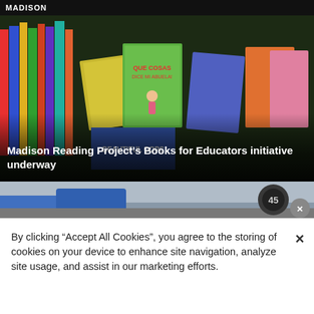MADISON
[Figure (photo): Photo of children's books displayed on a table, including colorful covers. A highlighted book in center reads 'Que Cosas Dice Mi Abuela!' and another reads 'Beautiful Oops'. Various multicultural children's books are visible.]
Madison Reading Project's Books for Educators initiative underway
[Figure (photo): Partial photo of a car scene, cropped at top of second card]
By clicking “Accept All Cookies”, you agree to the storing of cookies on your device to enhance site navigation, analyze site usage, and assist in our marketing efforts.